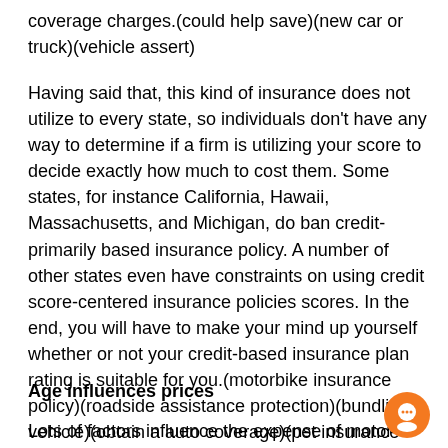coverage charges.(could help save)(new car or truck)(vehicle assert)
Having said that, this kind of insurance does not utilize to every state, so individuals don't have any way to determine if a firm is utilizing your score to decide exactly how much to cost them. Some states, for instance California, Hawaii, Massachusetts, and Michigan, do ban credit-primarily based insurance policy. A number of other states even have constraints on using credit score-centered insurance policies scores. In the end, you will have to make your mind up yourself whether or not your credit-based insurance plan rating is suitable for you.(motorbike insurance policy)(roadside assistance protection)(bundling vehicle)(obtain a auto coverage)(pet insurance plan)(genuine dollars price)(exceptional promises service)(yacht insurance)
Age influences prices
Lots of factors influence the expense of motor vehicle